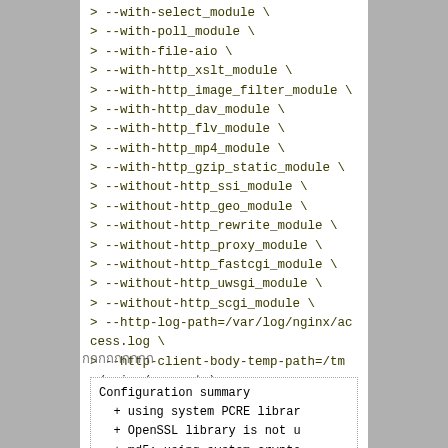> --with-select_module \
> --with-poll_module \
> --with-file-aio \
> --with-http_xslt_module \
> --with-http_image_filter_module \
> --with-http_dav_module \
> --with-http_flv_module \
> --with-http_mp4_module \
> --with-http_gzip_static_module \
> --without-http_ssi_module \
> --without-http_geo_module \
> --without-http_rewrite_module \
> --without-http_proxy_module \
> --without-http_fastcgi_module \
> --without-http_uwsgi_module \
> --without-http_scgi_module \
> --http-log-path=/var/log/nginx/access.log \
> --http-client-body-temp-path=/tmp/nginx/request \
> --without-mail_pop3_module \
> --without-mail_imap_module \
> --without-mail_smtp_module \
> --with-pcre
กกกกกกกกก
Configuration summary
  + using system PCRE librar
  + OpenSSL library is not u
  + md5: using system crypto